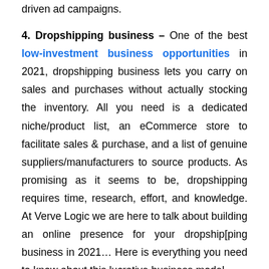driven ad campaigns.
4. Dropshipping business – One of the best low-investment business opportunities in 2021, dropshipping business lets you carry on sales and purchases without actually stocking the inventory. All you need is a dedicated niche/product list, an eCommerce store to facilitate sales & purchase, and a list of genuine suppliers/manufacturers to source products. As promising as it seems to be, dropshipping requires time, research, effort, and knowledge. At Verve Logic we are here to talk about building an online presence for your dropship[ping business in 2021… Here is everything you need to know about this lucrative business model.